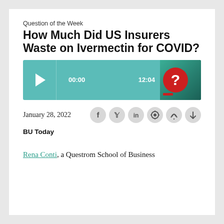Question of the Week
How Much Did US Insurers Waste on Ivermectin for COVID?
[Figure (other): Audio player with teal/green background, play button, timestamps 00:00 and 12:04, and a thumbnail image with a red circle question mark on green background]
January 28, 2022
[Figure (other): Social sharing icons row: Facebook, Twitter, LinkedIn, Podcast, RSS, Download]
BU Today
Rena Conti, a Questrom School of Business